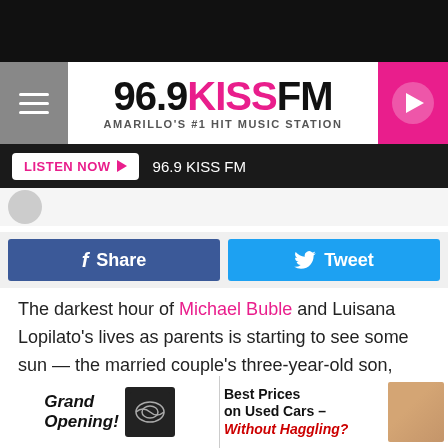96.9 KISS FM — AMARILLO'S #1 HIT MUSIC STATION
LISTEN NOW ▶  96.9 KISS FM
f  Share    Tweet
The darkest hour of Michael Buble and Luisana Lopilato's lives as parents is starting to see some sun — the married couple's three-year-old son, Noah, who has been battling cancer since Fall 2016, seems to be healing, they told E! News.
"We are so grateful to report that our son Noah has been
[Figure (infographic): Bottom banner advertisement: Grand Opening! car dealership ad on left; Best Prices on Used Cars – Without Haggling? with man's face on right]